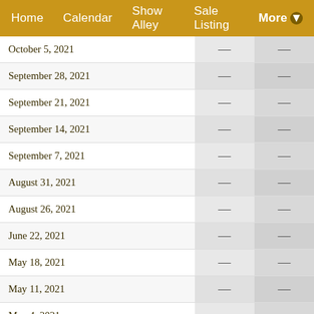Home   Calendar   Show Alley   Sale Listing   More
| Date |  |  |
| --- | --- | --- |
| October 5, 2021 | — | — |
| September 28, 2021 | — | — |
| September 21, 2021 | — | — |
| September 14, 2021 | — | — |
| September 7, 2021 | — | — |
| August 31, 2021 | — | — |
| August 26, 2021 | — | — |
| June 22, 2021 | — | — |
| May 18, 2021 | — | — |
| May 11, 2021 | — | — |
| May 4, 2021 | — | — |
| April 27, 2021 | — | — |